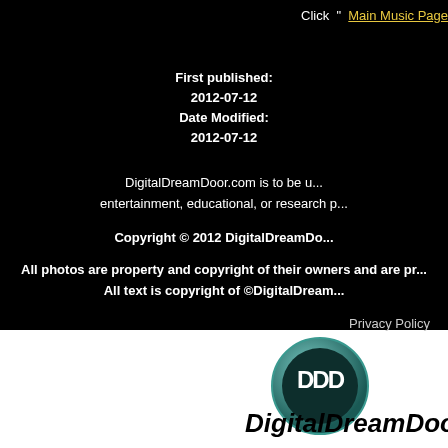Click " Main Music Page
First published: 2012-07-12 Date Modified: 2012-07-12
DigitalDreamDoor.com is to be used for entertainment, educational, or research purposes only.
Copyright © 2012 DigitalDreamDoor.com
All photos are property and copyright of their owners and are provided for editorial purposes only. All text is copyright of ©DigitalDreamDoor.com
Privacy Policy
[Figure (logo): DigitalDreamDoor logo: teal circular badge with DDD letters in white, followed by DigitalDreamDoor text in bold black]
DigitalDreamDoor